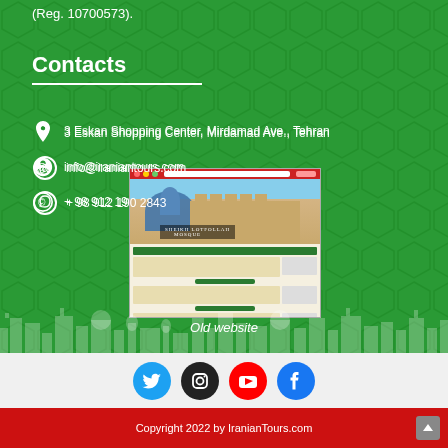(Reg. 10700573).
Contacts
3 Eskan Shopping Center, Mirdamad Ave., Tehran
info@iraniantours.com
+ 98 912 190 2843
[Figure (screenshot): Screenshot of old IranianTours.com website showing Sheikh Lotfollah Mosque page]
Old website
[Figure (infographic): City skyline silhouette in white at bottom of green section]
[Figure (infographic): Social media icons: Twitter (blue), Instagram (black), YouTube (red), Facebook (blue)]
Copyright 2022 by IranianTours.com